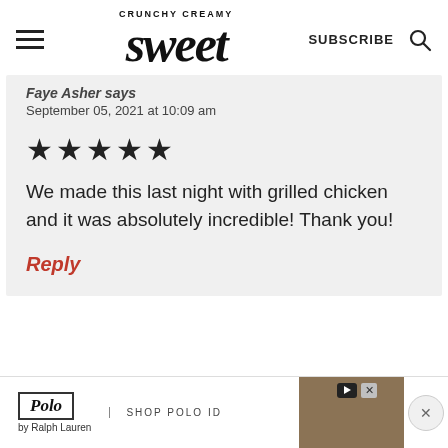CRUNCHY CREAMY Sweet | SUBSCRIBE
Faye Asher says
September 05, 2021 at 10:09 am
[Figure (other): Five filled star rating icons]
We made this last night with grilled chicken and it was absolutely incredible! Thank you!
Reply
[Figure (other): Polo by Ralph Lauren advertisement banner with shop polo ID text and bag image]